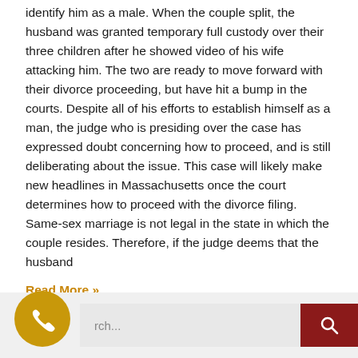identify him as a male. When the couple split, the husband was granted temporary full custody over their three children after he showed video of his wife attacking him. The two are ready to move forward with their divorce proceeding, but have hit a bump in the courts. Despite all of his efforts to establish himself as a man, the judge who is presiding over the case has expressed doubt concerning how to proceed, and is still deliberating about the issue. This case will likely make new headlines in Massachusetts once the court determines how to proceed with the divorce filing. Same-sex marriage is not legal in the state in which the couple resides. Therefore, if the judge deems that the husband
Read More »